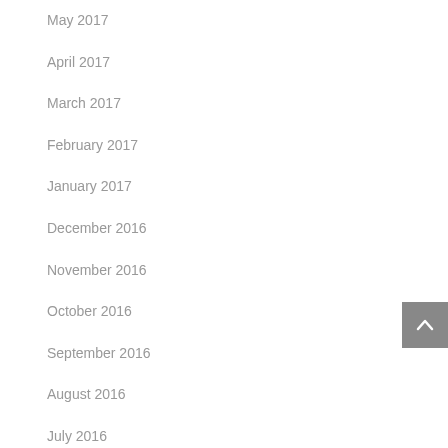May 2017
April 2017
March 2017
February 2017
January 2017
December 2016
November 2016
October 2016
September 2016
August 2016
July 2016
June 2016
May 2016